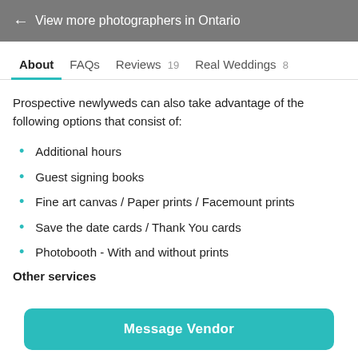← View more photographers in Ontario
About  FAQs  Reviews 19  Real Weddings 8
Prospective newlyweds can also take advantage of the following options that consist of:
Additional hours
Guest signing books
Fine art canvas / Paper prints / Facemount prints
Save the date cards / Thank You cards
Photobooth - With and without prints
Other services
Message Vendor